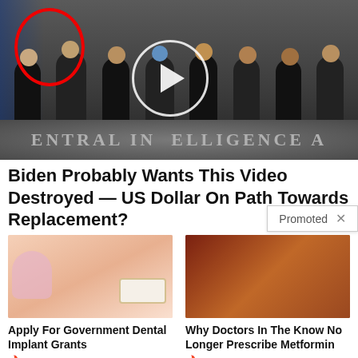[Figure (photo): Group of men in suits standing in the CIA headquarters lobby, with CIA seal on floor. One person on the left is circled in red. A white play button circle overlay is in the center of the image.]
Biden Probably Wants This Video Destroyed — US Dollar On Path Towards Replacement?
Promoted X
[Figure (photo): Close-up photo of a woman receiving dental implant treatment, with gloved hands and dental tools visible.]
Apply For Government Dental Implant Grants
🔥 12,860
[Figure (photo): Close-up medical image of internal organs, possibly pancreas or intestines, in reddish-brown tones.]
Why Doctors In The Know No Longer Prescribe Metformin
🔥 116,775